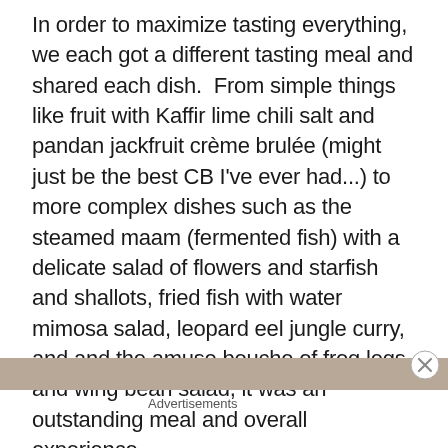In order to maximize tasting everything, we each got a different tasting meal and shared each dish.  From simple things like fruit with Kaffir lime chili salt and pandan jackfruit crème brulée (might just be the best CB I've ever had...) to more complex dishes such as the steamed maam (fermented fish) with a delicate salad of flowers and starfish and shallots, fried fish with water mimosa salad, leopard eel jungle curry, and and the amuse bouche of frog legs and wing bean salad, it was an outstanding meal and overall experience.
[Figure (photo): Partial image strip of food/restaurant scene visible at bottom of page]
Advertisements